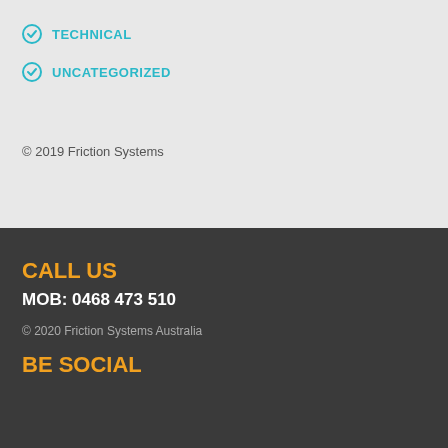TECHNICAL
UNCATEGORIZED
© 2019 Friction Systems
CALL US
MOB: 0468 473 510
© 2020 Friction Systems Australia
BE SOCIAL